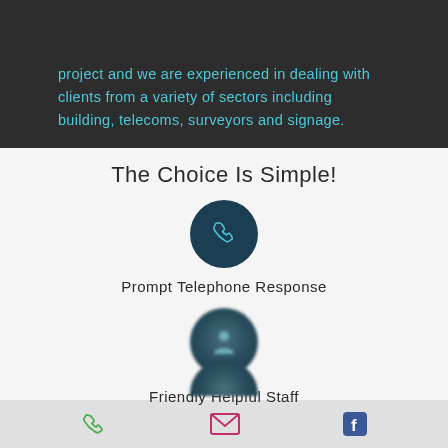project and we are experienced in dealing with clients from a variety of sectors including building, telecoms, surveyors and signage.
The Choice Is Simple!
[Figure (illustration): Dark teal circle icon with phone handset symbol]
Prompt Telephone Response
[Figure (illustration): Dark teal circle icon with person/user symbol, blurred]
Friendly Helpful Staff
[Figure (illustration): Partially visible dark teal circle icon at bottom]
Phone icon | Email icon | Facebook icon